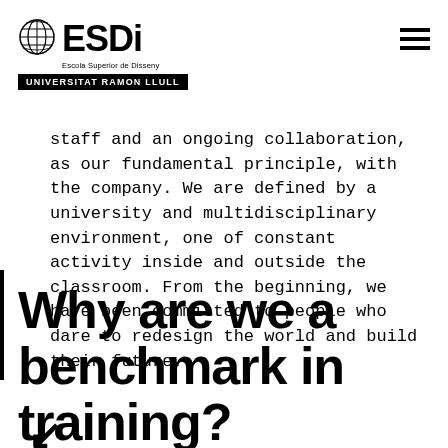ESDi Escola Superior de Disseny — UNIVERSITAT RAMON LLULL
staff and an ongoing collaboration, as our fundamental principle, with the company. We are defined by a university and multidisciplinary environment, one of constant activity inside and outside the classroom. From the beginning, we have been committed to people who dare to redesign the world and build their future.
Why are we a benchmark in training?